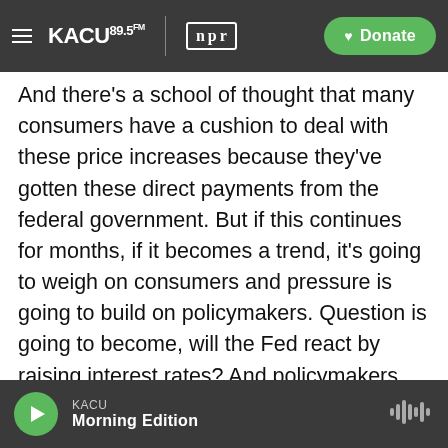KACU 89.5FM NPR | Donate
And there's a school of thought that many consumers have a cushion to deal with these price increases because they've gotten these direct payments from the federal government. But if this continues for months, if it becomes a trend, it's going to weigh on consumers and pressure is going to build on policymakers. Question is going to become, will the Fed react by raising interest rates? And policymakers have said they have no plans to do that. Then, of course, there's the politics of this. Republicans using today's number to argue against another spending bill.
KACU Morning Edition